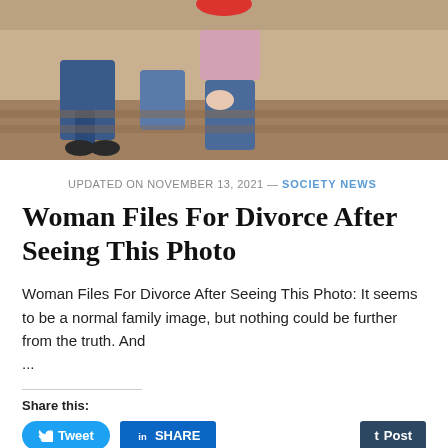[Figure (photo): Family photo showing people sitting together on what appears to be outdoor steps or a bench, partially cropped at the top]
UPDATED ON NOVEMBER 13, 2021 — SOCIETY NEWS
Woman Files For Divorce After Seeing This Photo
Woman Files For Divorce After Seeing This Photo: It seems to be a normal family image, but nothing could be further from the truth. And ...
Share this:
Tweet | SHARE | Post
Save | Pocket | 0 | Telegram | WhatsApp